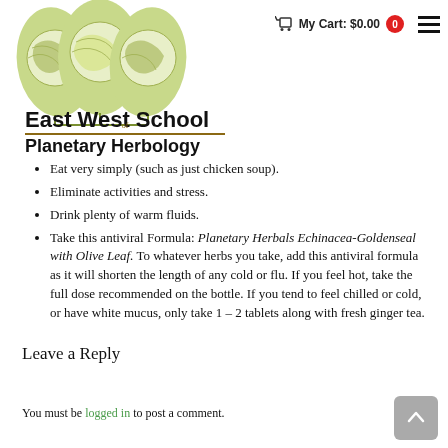[Figure (logo): East West School of Planetary Herbology logo: three leaf shapes containing globe illustrations, with school name below]
My Cart: $0.00  0
Eat very simply (such as just chicken soup).
Eliminate activities and stress.
Drink plenty of warm fluids.
Take this antiviral Formula: Planetary Herbals Echinacea-Goldenseal with Olive Leaf. To whatever herbs you take, add this antiviral formula as it will shorten the length of any cold or flu. If you feel hot, take the full dose recommended on the bottle. If you tend to feel chilled or cold, or have white mucus, only take 1 – 2 tablets along with fresh ginger tea.
Leave a Reply
You must be logged in to post a comment.